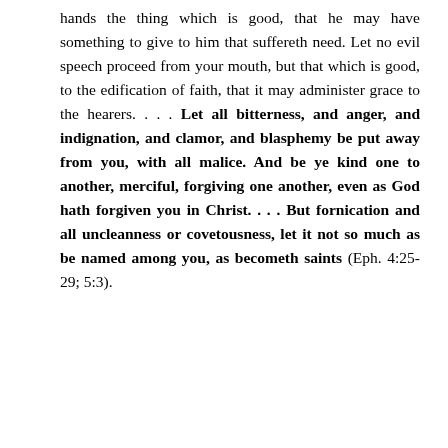hands the thing which is good, that he may have something to give to him that suffereth need. Let no evil speech proceed from your mouth, but that which is good, to the edification of faith, that it may administer grace to the hearers. . . . Let all bitterness, and anger, and indignation, and clamor, and blasphemy be put away from you, with all malice. And be ye kind one to another, merciful, forgiving one another, even as God hath forgiven you in Christ. . . . But fornication and all uncleanness or covetousness, let it not so much as be named among you, as becometh saints (Eph. 4:25-29; 5:3).